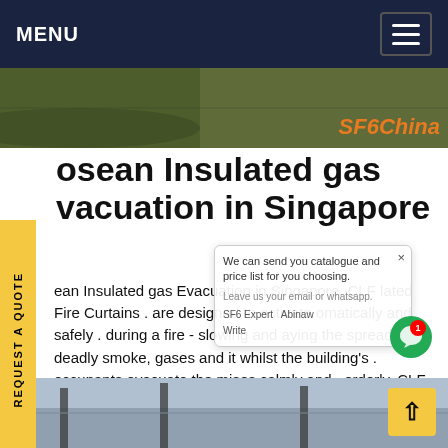MENU
[Figure (photo): Aerial/ground photo of electrical infrastructure with SF6China watermark in orange]
osean Insulated gas vacuation in Singapore
ean Insulated gas Evacuation in Singapore. CLF lated Fire Curtains . are designed to activate omatically and safely . during a fire - slowing and aying the spread of deadly smoke, gases and it whilst the building's . occupants evacuate the mises calmly and . orderly. CLF provide 2 egories of insulated curtains: 1) 2 thick curtain layers of insulated fabric materialsGet price
[Figure (photo): Bottom photo showing electrical infrastructure, pylons and cables]